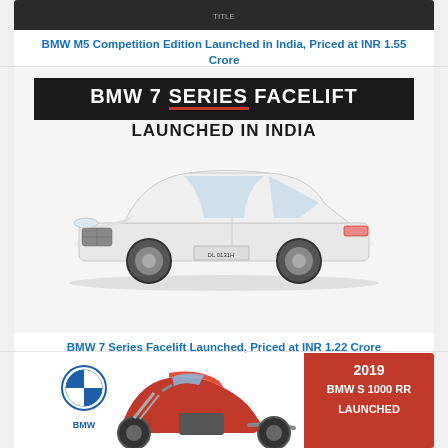[Figure (photo): BMW M5 Competition Edition dark background thumbnail image]
BMW M5 Competition Edition Launched in India, Priced at INR 1.55 Crore
Views: 5005
[Figure (photo): BMW 7 Series Facelift promotional image with white sedan car, black banner with red underline text BMW 7 SERIES FACELIFT LAUNCHED IN INDIA]
BMW 7 Series Facelift Launched, Priced at INR 1.22 Crore
Views: 4927
[Figure (photo): 2019 BMW S 1000 RR motorcycle red color with BMW logo and red box with text 2019 BMW S 1000 RR LAUNCHED]